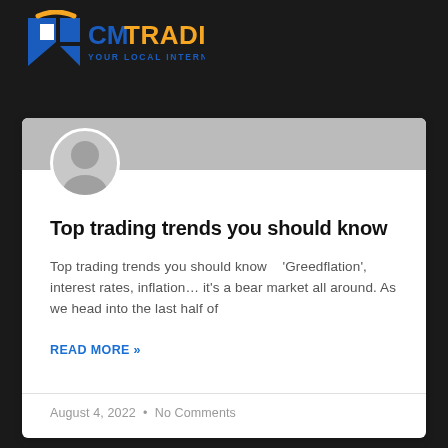[Figure (logo): CM Trading logo with shield/arrow icon in blue and yellow, text 'CMTRADING' in blue with yellow highlights, subtitle 'YOUR LOCAL INTERNATIONAL BROKER' in blue]
Top trading trends you should know
Top trading trends you should know   'Greedflation', interest rates, inflation… it's a bear market all around. As we head into the last half of
READ MORE »
August 4, 2022  •  No Comments